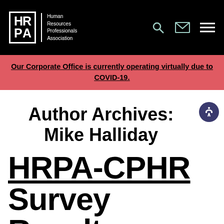HRPA – Human Resources Professionals Association
Our Corporate Office is currently operating virtually due to COVID-19.
Author Archives: Mike Halliday
HRPA-CPHR Survey Results